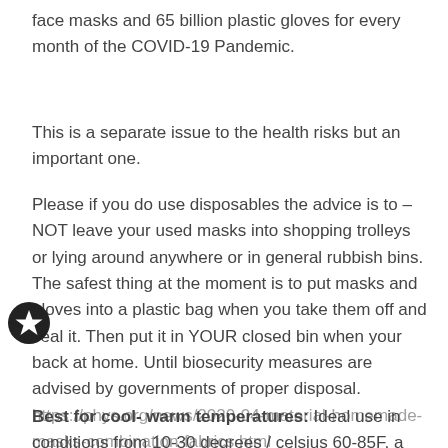face masks and 65 billion plastic gloves for every month of the COVID-19 Pandemic.
This is a separate issue to the health risks but an important one.
Please if you do use disposables the advice is to – NOT leave your used masks into shopping trolleys or lying around anywhere or in general rubbish bins. The safest thing at the moment is to put masks and gloves into a plastic bag when you take them off and seal it. Then put it in YOUR closed bin when your back at home. Until biosecurity measures are advised by governments of proper disposal. https://phys.org/news/2020-04-material-homemade-masks-combination-fabrics.html
Best for cool- warm temperatures: Ideal use in conditions from 10-30 degrees / celsius 60-85F, a lightweight face